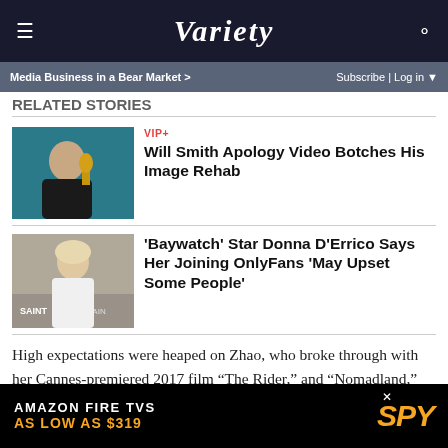VARIETY
Media Business in a Bear Market > | Subscribe | Log in
RELATED STORIES
[Figure (photo): Will Smith holding an Oscar trophy, wearing a suit]
VIP+
Will Smith Apology Video Botches His Image Rehab
[Figure (photo): Blonde woman in white outfit at an event with 'SAINT' backdrop]
'Baywatch' Star Donna D'Errico Says Her Joining OnlyFans 'May Upset Some People'
High expectations were heaped on Zhao, who broke through with her Cannes-premiered 2017 film “The Rider,” and “Nomadland,” which combines deep emotional force with innovative form, delivered, wowing both in Venice and at i
[Figure (other): Amazon Fire TVs advertisement: AS LOW AS $319, SPY logo]